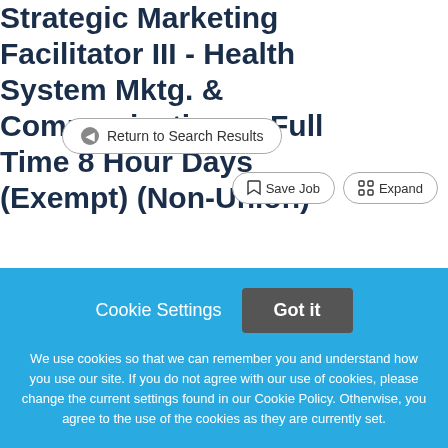Return to Search Results
Strategic Marketing Facilitator III - Health System Mktg. & Communications - Full Time 8 Hour Days (Exempt) (Non-Union)
Save Job
Expand
Cookie Settings
Got it
We use cookies so that we can remember you and understand how you use our site. If you do not agree with our use of cookies, please change the current settings found in our Cookie Policy. Otherwise, you agree to the use of the cookies as they are currently set.